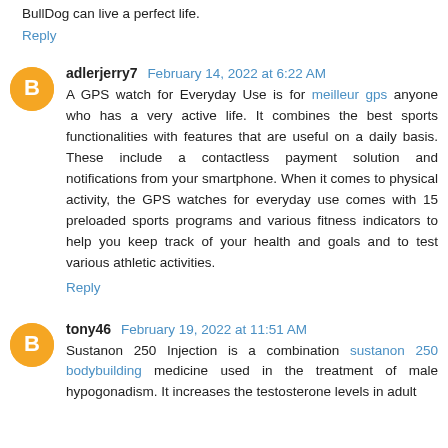BullDog can live a perfect life.
Reply
adlerjerry7  February 14, 2022 at 6:22 AM
A GPS watch for Everyday Use is for meilleur gps anyone who has a very active life. It combines the best sports functionalities with features that are useful on a daily basis. These include a contactless payment solution and notifications from your smartphone. When it comes to physical activity, the GPS watches for everyday use comes with 15 preloaded sports programs and various fitness indicators to help you keep track of your health and goals and to test various athletic activities.
Reply
tony46  February 19, 2022 at 11:51 AM
Sustanon 250 Injection is a combination sustanon 250 bodybuilding medicine used in the treatment of male hypogonadism. It increases the testosterone levels in adult